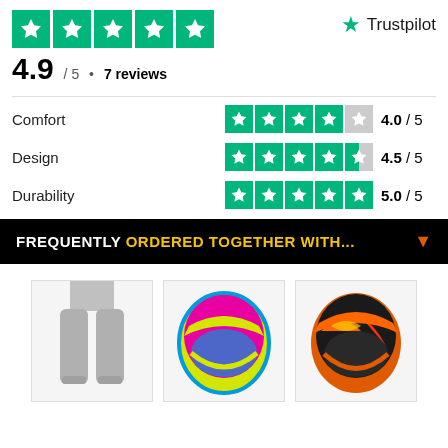[Figure (logo): Trustpilot rating widget with 5 green star boxes and rating 4.9/5, 7 reviews]
| Category | Stars | Score |
| --- | --- | --- |
| Comfort | ★★★★☆ | 4.0 / 5 |
| Design | ★★★★½ | 4.5 / 5 |
| Durability | ★★★★★ | 5.0 / 5 |
FREQUENTLY ORDERED TOGETHER WITH...
[Figure (photo): Gray jogger pants on a person]
[Figure (photo): Yellow and pink motocross helmet]
[Figure (photo): Orange and black motocross helmet]